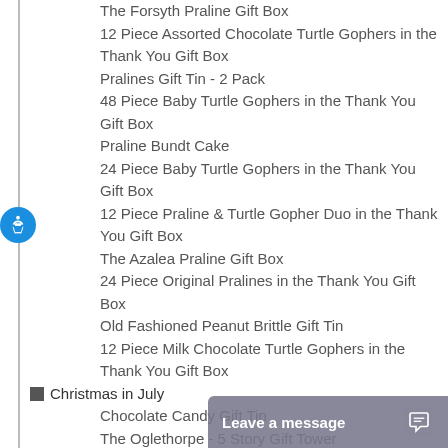The Forsyth Praline Gift Box
12 Piece Assorted Chocolate Turtle Gophers in the Thank You Gift Box
Pralines Gift Tin - 2 Pack
48 Piece Baby Turtle Gophers in the Thank You Gift Box
Praline Bundt Cake
24 Piece Baby Turtle Gophers in the Thank You Gift Box
12 Piece Praline & Turtle Gopher Duo in the Thank You Gift Box
The Azalea Praline Gift Box
24 Piece Original Pralines in the Thank You Gift Box
Old Fashioned Peanut Brittle Gift Tin
12 Piece Milk Chocolate Turtle Gophers in the Thank You Gift Box
Christmas in July
Chocolate Candy Gift Tin
The Oglethorpe - 5 Story Gift Tower
The Royal Chocolate Gift Box
Southern Charm S[cut off]
Baby Turtle Goph[cut off]
The Pink House [cut off]